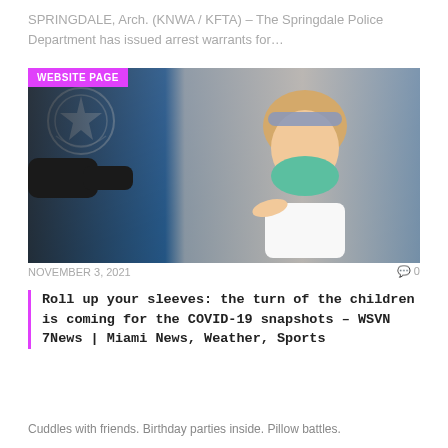SPRINGDALE, Arch. (KNWA / KFTA) – The Springdale Police Department has issued arrest warrants for...
[Figure (photo): A young girl wearing a green face mask and blue/grey headband receives a vaccination shot from a healthcare worker wearing black gloves, against a blue background with a star seal/emblem. A 'WEBSITE PAGE' badge is overlaid in the top-left corner.]
NOVEMBER 3, 2021   0 0
Roll up your sleeves: the turn of the children is coming for the COVID-19 snapshots – WSVN 7News | Miami News, Weather, Sports
Cuddles with friends. Birthday parties inside. Pillow battles.